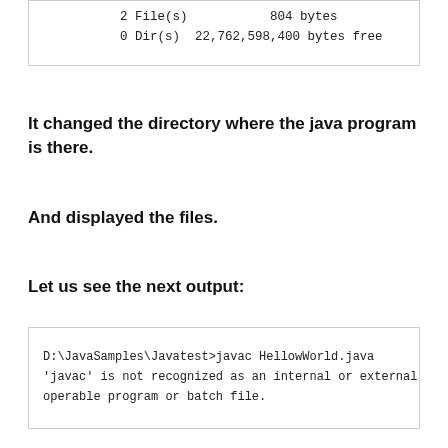[Figure (screenshot): Code output box showing directory listing: 2 File(s) 804 bytes, 0 Dir(s) 22,762,598,400 bytes free]
It changed the directory where the java program is there.
And displayed the files.
Let us see the next output:
[Figure (screenshot): Command prompt output: D:\JavaSamples\Javatest>javac HellowWorld.java
'javac' is not recognized as an internal or external operable program or batch file.]
It shows error for java path. Jenkins is not